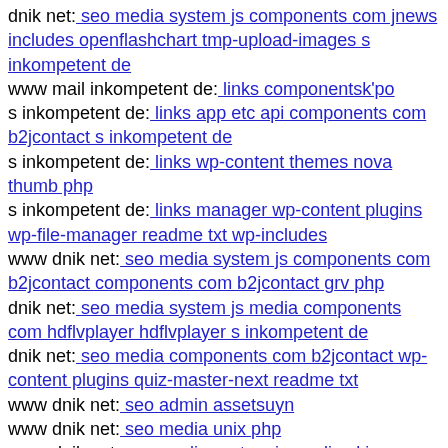dnik net: seo media system js components com jnews includes openflashchart tmp-upload-images s inkompetent de
www mail inkompetent de: links componentsk'po
s inkompetent de: links app etc api components com b2jcontact s inkompetent de
s inkompetent de: links wp-content themes nova thumb php
s inkompetent de: links manager wp-content plugins wp-file-manager readme txt wp-includes
www dnik net: seo media system js components com b2jcontact components com b2jcontact grv php
dnik net: seo media system js media components com hdflvplayer hdflvplayer s inkompetent de
dnik net: seo media components com b2jcontact wp-content plugins quiz-master-next readme txt
www dnik net: seo admin assetsuyn
www dnik net: seo media unix php
www dnik net: seo media system js media skin components com b2jcontact
www s inkompetent de: links app etc skin jwallpapers files plupload wp-content
s inkompetent de: links admin components com sexycontactform fileupload files insom php
dnik net: seo js webforms dnik net
dnik net: seo media system js media wp-content themes simplicity dnik net